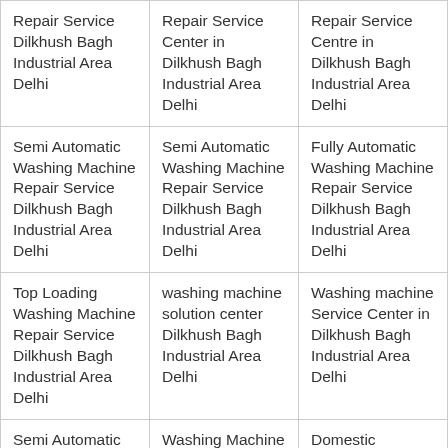| Repair Service Dilkhush Bagh Industrial Area Delhi | Repair Service Center in Dilkhush Bagh Industrial Area Delhi | Repair Service Centre in Dilkhush Bagh Industrial Area Delhi |
| Semi Automatic Washing Machine Repair Service Dilkhush Bagh Industrial Area Delhi | Semi Automatic Washing Machine Repair Service Dilkhush Bagh Industrial Area Delhi | Fully Automatic Washing Machine Repair Service Dilkhush Bagh Industrial Area Delhi |
| Top Loading Washing Machine Repair Service Dilkhush Bagh Industrial Area Delhi | washing machine solution center Dilkhush Bagh Industrial Area Delhi | Washing machine Service Center in Dilkhush Bagh Industrial Area Delhi |
| Semi Automatic Service & Repair in Dilkhush Bagh Industrial Area | Washing Machine Service & Repair in Dilkhush Bagh Industrial Area | Domestic Washing machine Service & Repair in Dilkhush Bagh Industrial |